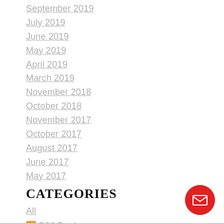September 2019
July 2019
June 2019
May 2019
April 2019
March 2019
November 2018
October 2018
November 2017
October 2017
August 2017
June 2017
May 2017
CATEGORIES
All
RSS Feed